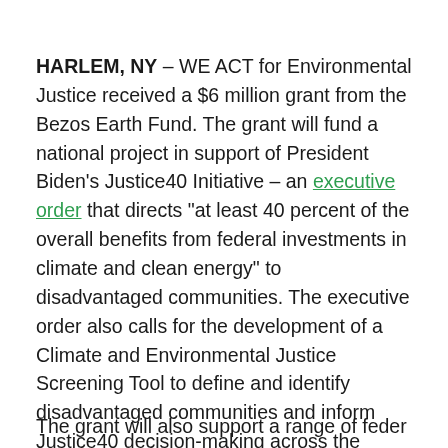HARLEM, NY – WE ACT for Environmental Justice received a $6 million grant from the Bezos Earth Fund. The grant will fund a national project in support of President Biden's Justice40 Initiative – an executive order that directs "at least 40 percent of the overall benefits from federal investments in climate and clean energy" to disadvantaged communities. The executive order also calls for the development of a Climate and Environmental Justice Screening Tool to define and identify disadvantaged communities and inform Justice40 decision-making across the federal government.
The grant will also support a range of federal...